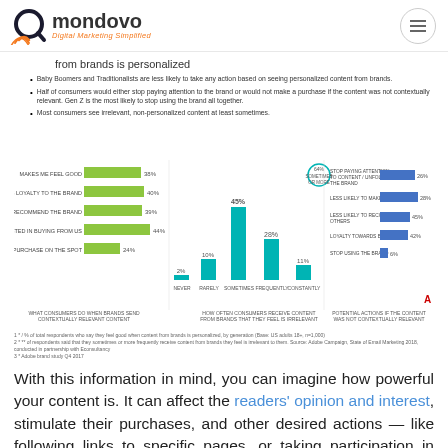mondovo — Digital Marketing Simplified
from brands is personalized
Baby Boomers and Traditionalists are less likely to take any action based on seeing personalized content from brands.
Half of consumers would either stop paying attention to the brand or would not make a purchase if the content was not contextually relevant. Gen Z is the most likely to stop using the brand all together.
Most consumers see irrelevant, non-personalized content at least sometimes.
[Figure (infographic): Three chart infographic showing: 1) Horizontal bar chart (green) showing actions consumers take when brand content is personalized with percentages 38%, 40%, 39%, 44%, 24%. 2) Vertical bar chart (teal) showing how often consumers receive content from brands they feel is irrelevant with values 2%, 10%, 45%, 28%, 11%. 3) Horizontal bar chart (blue) showing potential actions if content is not contextually relevant with values 26%, 28%, 45%, 42%, 6%.]
Notes and source references for the charts shown above.
With this information in mind, you can imagine how powerful your content is. It can affect the readers' opinion and interest, stimulate their purchases, and other desired actions — like following links to specific pages, or taking participation in online surveys. It is an excellent option to rank higher, and get more clicks